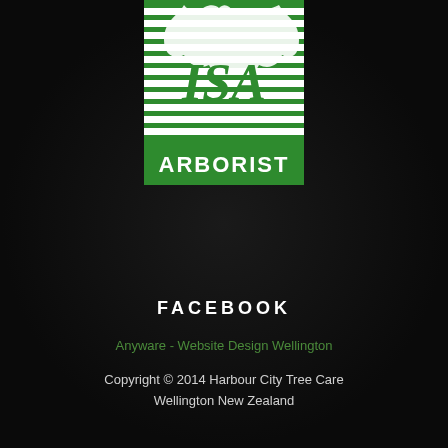[Figure (logo): ISA Certified Arborist logo — green square badge with white horizontal stripes and a white oak leaf/ISA monogram graphic, with 'ARBORIST' in bold white text on the green lower band]
FACEBOOK
Anyware - Website Design Wellington
Copyright © 2014 Harbour City Tree Care Wellington New Zealand